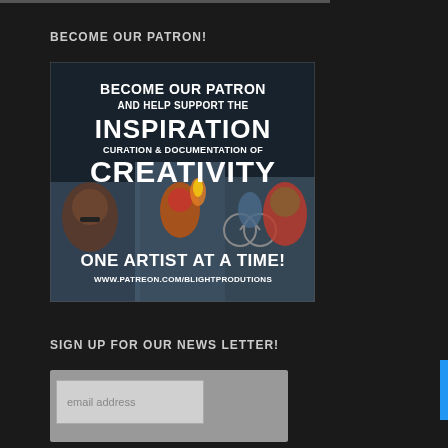BECOME OUR PATRON!
[Figure (illustration): Promotional image for Patreon with text: 'BECOME OUR PATRON AND HELP SUPPORT THE INSPIRATION CURATION & DOCUMENTATION OF CREATIVITY ONE ARTIST AT A TIME! WWW.PATREON.COM/BLIGHTPRODUTIONS'. Dark background with photos of people performing.]
SIGN UP FOR OUR NEWS LETTER!
email address